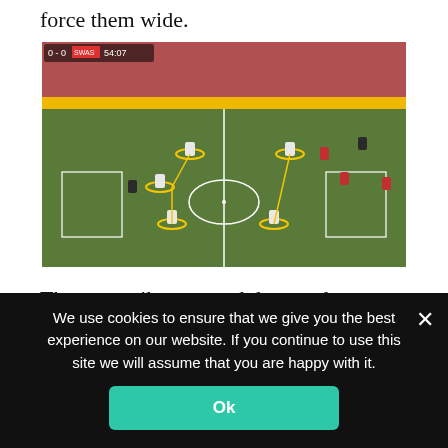force them wide.
[Figure (photo): Football match screenshot showing players on a pitch, with yellow circles/ovals annotating player positions in a narrow, deep formation. Stadium stands visible in background.]
The two strikers stayed deep and narrow, with the midfield trio also doing the same, and as we
We use cookies to ensure that we give you the best experience on our website. If you continue to use this site we will assume that you are happy with it.